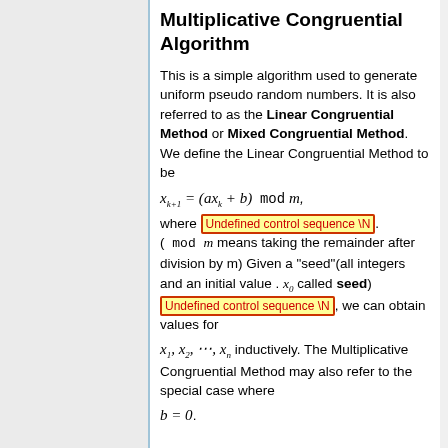Multiplicative Congruential Algorithm
This is a simple algorithm used to generate uniform pseudo random numbers. It is also referred to as the Linear Congruential Method or Mixed Congruential Method. We define the Linear Congruential Method to be x_{k+1} = (ax_k + b) mod m, where [Undefined control sequence \N]. ( mod m means taking the remainder after division by m) Given a "seed"(all integers and an initial value . x_0 called seed) [Undefined control sequence \N], we can obtain values for x_1, x_2, ..., x_n inductively. The Multiplicative Congruential Method may also refer to the special case where b = 0.